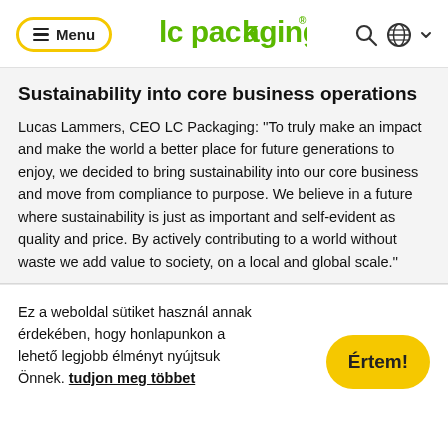Menu | lc packaging | Search | Globe
Sustainability into core business operations
Lucas Lammers, CEO LC Packaging: ''To truly make an impact and make the world a better place for future generations to enjoy, we decided to bring sustainability into our core business and move from compliance to purpose. We believe in a future where sustainability is just as important and self-evident as quality and price. By actively contributing to a world without waste we add value to society, on a local and global scale.''
Ez a weboldal sütiket használ annak érdekében, hogy honlapunkon a lehető legjobb élményt nyújtsuk Önnek. tudjon meg többet
Értem!